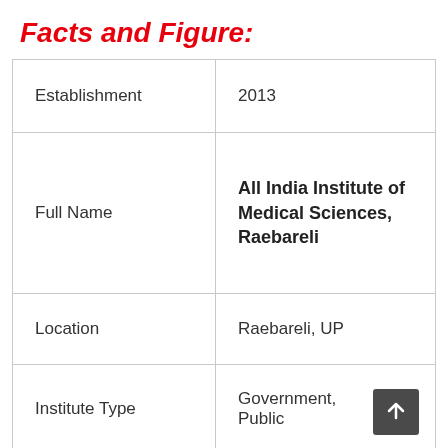Facts and Figure:
|  |  |
| --- | --- |
| Establishment | 2013 |
| Full Name | All India Institute of Medical Sciences, Raebareli |
| Location | Raebareli, UP |
| Institute Type | Government, Public |